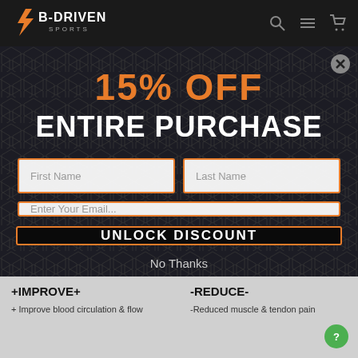[Figure (logo): B-Driven Sports logo with orange lightning bolt icon and white/orange text]
15% OFF
ENTIRE PURCHASE
First Name | Last Name | Enter Your Email...
UNLOCK DISCOUNT
No Thanks
+IMPROVE+
-REDUCE-
+ Improve blood circulation & flow
-Reduced muscle & tendon pain